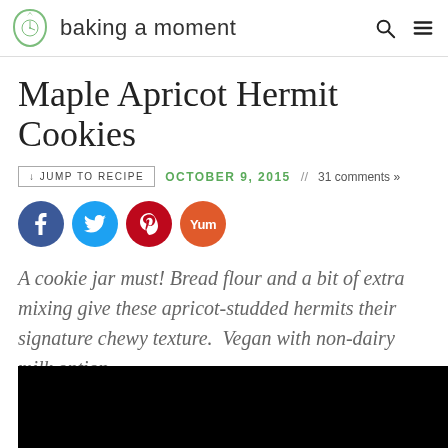baking a moment
Maple Apricot Hermit Cookies
↓ JUMP TO RECIPE   OCTOBER 9, 2015  //  31 comments »
[Figure (other): Social share buttons: Facebook, Twitter, Pinterest, Yummly]
A cookie jar must! Bread flour and a bit of extra mixing give these apricot-studded hermits their signature chewy texture.  Vegan with non-dairy milk option.
[Figure (photo): Dark/black photo area at bottom of page, partially visible]